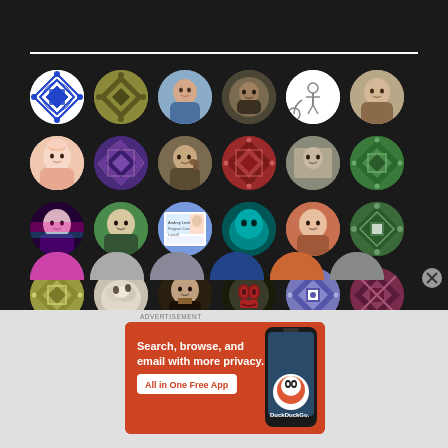[Figure (screenshot): Dark-themed social media or forum page showing a grid of circular user avatars (profile pictures), some showing geometric/decorative patterns, others showing photographs of people, animals, and objects. Below the avatar grid is a DuckDuckGo advertisement banner with orange background reading 'Search, browse, and email with more privacy. All in One Free App' with a phone image and DuckDuckGo logo.]